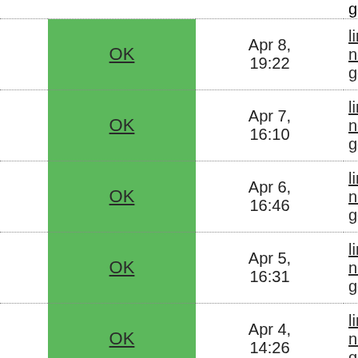| Status | Date | Branch |
| --- | --- | --- |
| OK | Apr 8, 19:22 | linux-next/44x/fsp2_de... gcc11 |
| OK | Apr 7, 16:10 | linux-next/44x/fsp2_de... gcc11 |
| OK | Apr 6, 16:46 | linux-next/44x/fsp2_de... gcc11 |
| OK | Apr 5, 16:31 | linux-next/44x/fsp2_de... gcc11 |
| OK | Apr 4, 14:26 | linux-next/44x/fsp2_de... gcc11 |
| OK | Apr 1, 15:49 | linux-next/44x/fsp2_de... gcc11 |